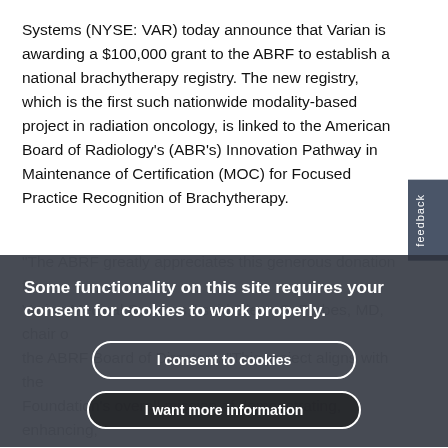Systems (NYSE: VAR) today announce that Varian is awarding a $100,000 grant to the ABRF to establish a national brachytherapy registry. The new registry, which is the first such nationwide modality-based project in radiation oncology, is linked to the American Board of Radiology's (ABR's) Innovation Pathway in Maintenance of Certification (MOC) for Focused Practice Recognition of Brachytherapy.
"The ABRF greatly appreciates this generous donation from Varian Medical Systems," said Glenn S. Forbes, MD, chair of the ABRF Board of Directors. "This project aligns with the Foundation's overall mission of demonstrating, enhancing, and educating the medical community and the public in the safe and appropriate use of medical imaging and radiation therapy. It promises to greatly enrich our understanding of the use of brachytherapy." ABR Executive Director Gary J. Becker, MD, also emphasized the importance of the funding from Varian, without that, the ABR would not have had the resources necessary to establish the new registry, which is crucial to our Focused Practice in Brachytherapy
Some functionality on this site requires your consent for cookies to work properly.
I consent to cookies
I want more information